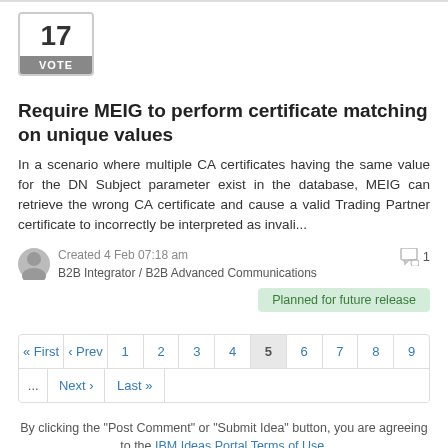[Figure (other): Vote box showing 17 votes with a VOTE button]
Require MEIG to perform certificate matching on unique values
In a scenario where multiple CA certificates having the same value for the DN Subject parameter exist in the database, MEIG can retrieve the wrong CA certificate and cause a valid Trading Partner certificate to incorrectly be interpreted as invali...
Created 4 Feb 07:18 am  B2B Integrator / B2B Advanced Communications  [comment icon] 1
Planned for future release
| « First | ‹ Prev | 1 | 2 | 3 | 4 | 5 | 6 | 7 | 8 | 9 |
| --- | --- | --- | --- | --- | --- | --- | --- | --- | --- | --- |
| ... | Next › | Last » |  |  |  |  |  |  |  |  |
By clicking the "Post Comment" or "Submit Idea" button, you are agreeing to the IBM Ideas Portal Terms of Use.